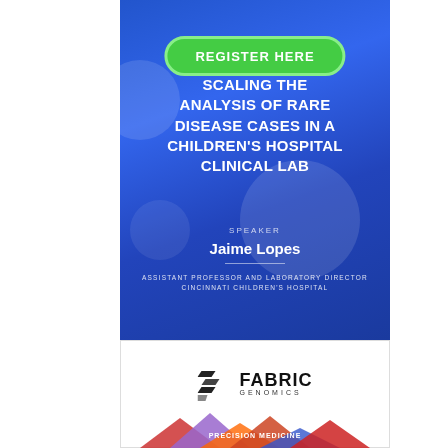[Figure (infographic): Register Here button - green rounded rectangle with white border]
SCALING THE ANALYSIS OF RARE DISEASE CASES IN A CHILDREN'S HOSPITAL CLINICAL LAB
SPEAKER
Jaime Lopes
ASSISTANT PROFESSOR AND LABORATORY DIRECTOR
CINCINNATI CHILDREN'S HOSPITAL
SPONSORED BY
[Figure (logo): Fabric Genomics logo with stylized F icon and text FABRIC GENOMICS]
[Figure (illustration): Partial bottom image showing conference/precision medicine branding]